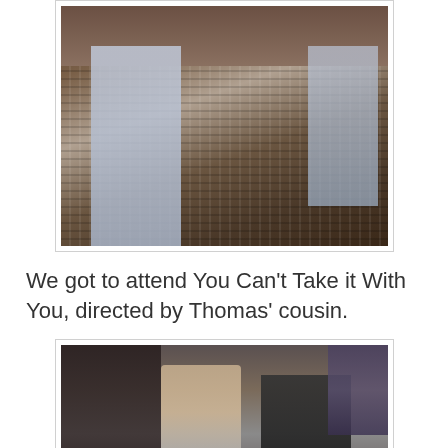[Figure (photo): A crocheted or knitted dark brown/grey sweater or cardigan displayed on a light blue background, photographed from above at an event or indoor setting.]
We got to attend You Can't Take it With You, directed by Thomas' cousin.
[Figure (photo): A theater scene showing actors on stage. A woman with light hair in a white jacket and a larger man in a dark shirt are seated at a table. A person stands in the foreground on the left with dark hair. A sign in the front reads text, and a bookcase is visible in the background.]